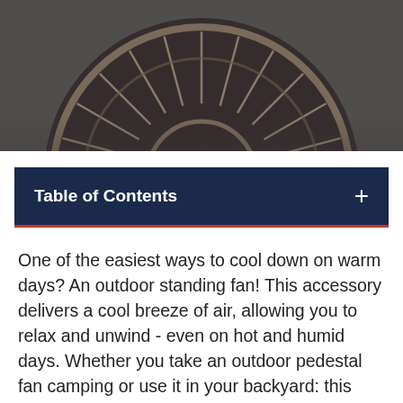[Figure (photo): Close-up photo of a circular desk/standing fan with metallic wire grill, dark bronze/copper color, viewed from the front, cropped at top portion]
Table of Contents +
One of the easiest ways to cool down on warm days? An outdoor standing fan! This accessory delivers a cool breeze of air, allowing you to relax and unwind - even on hot and humid days. Whether you take an outdoor pedestal fan camping or use it in your backyard: this must-have outdoor essential always comes in handy when the temperature heats up.